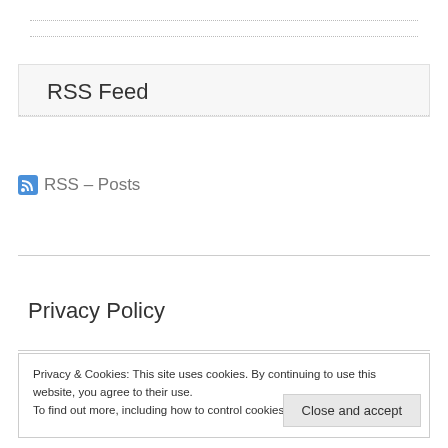RSS Feed
RSS – Posts
Privacy Policy
Privacy & Cookies: This site uses cookies. By continuing to use this website, you agree to their use.
To find out more, including how to control cookies, see here: Cookie Policy
Close and accept